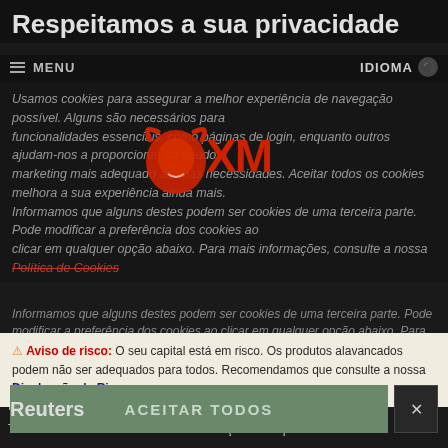Respeitamos a sua privacidade
≡ MENU   IDIOMA 🌐
Usamos cookies para assegurar a melhor experiência de navegação possível. Alguns são necessários para funcionalidades essenciais, como páginas de login, enquanto outros ajudam-nos a proporcionar conteúdo e marketing mais adequado às suas necessidades. Aceitar todos os cookies melhora a sua experiência ainda mais. Informamos que alguns destes podem ser cookies de uma terceira parte. Pode modificar a preferência dos cookies ao clicar em qualquer opção abaixo. Para mais informações, consulte a nossa Política de Cookies
[Figure (logo): XM broker logo - red bull/shield icon with XM text in red on dark background]
Procurar Instrumentos
Mais informação ▾   Notícias ▾   Pesquisa XM ▾   Indi
Todas as notícias   Forex   Índices   Ações   Criptomoedas
MODIFICA PREFERÊNCIAS
Reuters
ACEITAR TODOS
⚠ Aviso de risco: O seu capital está em risco. Os produtos alavancados podem não ser adequados para todos. Recomendamos que consulte a nossa Divulgação de Riscos.